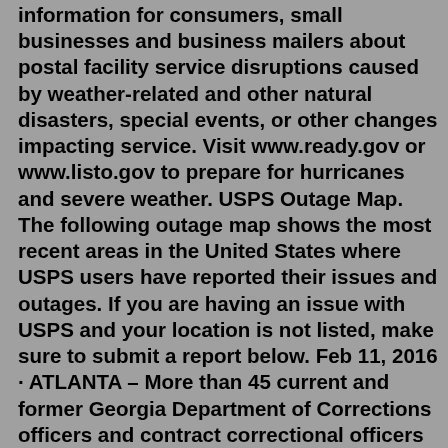information for consumers, small businesses and business mailers about postal facility service disruptions caused by weather-related and other natural disasters, special events, or other changes impacting service. Visit www.ready.gov or www.listo.gov to prepare for hurricanes and severe weather. USPS Outage Map. The following outage map shows the most recent areas in the United States where USPS users have reported their issues and outages. If you are having an issue with USPS and your location is not listed, make sure to submit a report below. Feb 11, 2016 · ATLANTA – More than 45 current and former Georgia Department of Corrections officers and contract correctional officers have been charged in seven separate federal indictments with smuggling contraband into prisons and with accepting bribe payments in exchange for providing protection for drug deals that were part of a federal undercover operation. Feb 02, 2022 · In an unprecedented move, the Federal Bureau of Prisons (BOP) has locked down all of its 122 facilities across